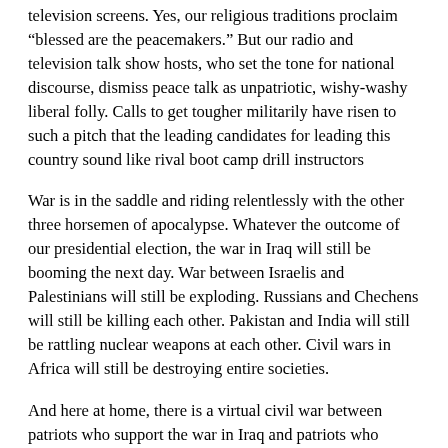television screens. Yes, our religious traditions proclaim “blessed are the peacemakers.” But our radio and television talk show hosts, who set the tone for national discourse, dismiss peace talk as unpatriotic, wishy-washy liberal folly. Calls to get tougher militarily have risen to such a pitch that the leading candidates for leading this country sound like rival boot camp drill instructors
War is in the saddle and riding relentlessly with the other three horsemen of apocalypse. Whatever the outcome of our presidential election, the war in Iraq will still be booming the next day. War between Israelis and Palestinians will still be exploding. Russians and Chechens will still be killing each other. Pakistan and India will still be rattling nuclear weapons at each other. Civil wars in Africa will still be destroying entire societies.
And here at home, there is a virtual civil war between patriots who support the war in Iraq and patriots who oppose the war in Iraq. Furious battles have erupted between veterans refighting the Vietnam war. One of the most startling scenes last week was a wire service photo of a burly man in Pennsylvania grabbing another burly man by the throat. “Both men Vietnam veterans seem to symbolize a nation bitterly divided over war,” the photo